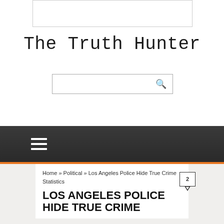[Figure (other): Advertisement placeholder box]
The Truth Hunter
[Figure (other): Search input box with magnifying glass icon]
[Figure (other): Dark navigation bar with hamburger menu icon (three horizontal lines)]
Home » Political » Los Angeles Police Hide True Crime Statistics
LOS ANGELES POLICE HIDE TRUE CRIME